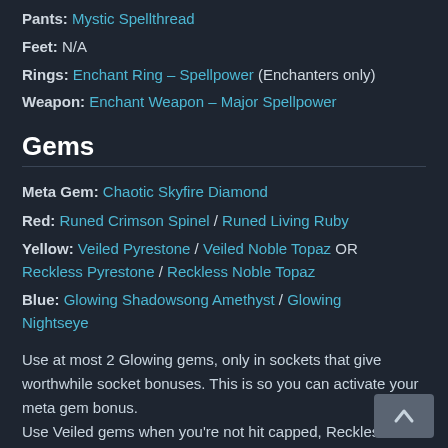Pants: Mystic Spellthread
Feet: N/A
Rings: Enchant Ring – Spellpower (Enchanters only)
Weapon: Enchant Weapon – Major Spellpower
Gems
Meta Gem: Chaotic Skyfire Diamond
Red: Runed Crimson Spinel / Runed Living Ruby
Yellow: Veiled Pyrestone / Veiled Noble Topaz OR Reckless Pyrestone / Reckless Noble Topaz
Blue: Glowing Shadowsong Amethyst / Glowing Nightseye
Use at most 2 Glowing gems, only in sockets that give worthwhile socket bonuses. This is so you can activate your meta gem bonus.
Use Veiled gems when you're not hit capped, Reckless when you are.